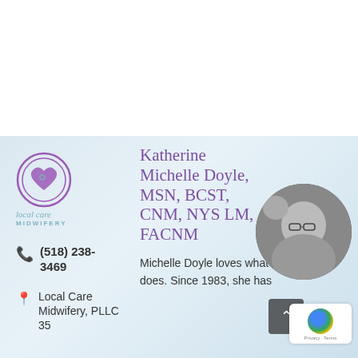[Figure (logo): Local Care Midwifery logo — purple spiral heart circle with teal 'local care' italic text and 'MIDWIFERY' bold caps below]
Katherine Michelle Doyle, MSN, BCST, CNM, NYS LM, FACNM
(518) 238-3469
Local Care Midwifery, PLLC
35
Michelle Doyle loves what she does. Since 1983, she has
[Figure (photo): Black and white circular photo of Michelle Doyle, a woman with glasses smiling, holding a baby]